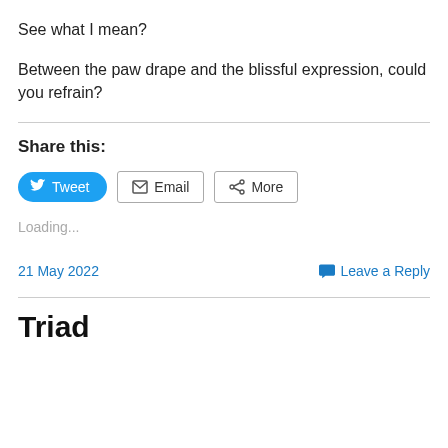See what I mean?
Between the paw drape and the blissful expression, could you refrain?
Share this:
Tweet  Email  More
Loading...
21 May 2022    Leave a Reply
Triad